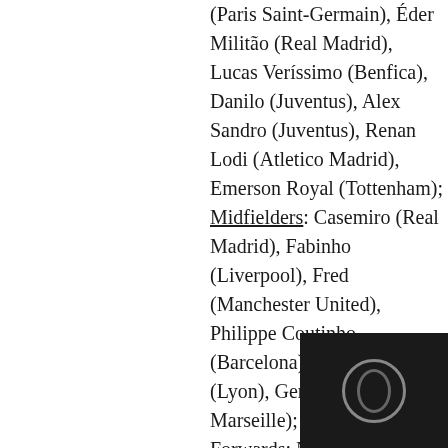(Paris Saint-Germain), Éder Militão (Real Madrid), Lucas Veríssimo (Benfica), Danilo (Juventus), Alex Sandro (Juventus), Renan Lodi (Atletico Madrid), Emerson Royal (Tottenham); Midfielders: Casemiro (Real Madrid), Fabinho (Liverpool), Fred (Manchester United), Philippe Coutinho (Barcelona), Lucas Paquetá (Lyon), Gerson (Olympique Marseille); Forwards: Ney...